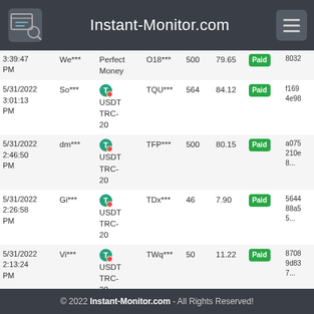Instant-Monitor.com
| Date | User | Payment | Account | Amount | USD | Status | TX |
| --- | --- | --- | --- | --- | --- | --- | --- |
| 5/31/2022 3:39:47 PM | We*** | Perfect Money | O18*** | 500 | 79.65 | Paid | 8032... |
| 5/31/2022 3:01:13 PM | So*** | USDT TRC-20 | TQU*** | 564 | 84.12 | Paid | f169 4e98... |
| 5/31/2022 2:46:50 PM | dm*** | USDT TRC-20 | TFP*** | 500 | 80.15 | Paid | a075 210e 8... |
| 5/31/2022 2:26:58 PM | Gi*** | USDT TRC-20 | TDx*** | 46 | 7.90 | Paid | 5644 88a5 5... |
| 5/31/2022 2:13:24 PM | Vi*** | USDT TRC-20 | TWq*** | 50 | 11.22 | Paid | 8708 9d83 7... |
| 5/31/2022 |  | USDT |  |  |  | Paid | 9938... |
© 2022 Instant-Monitor.com - All Rights Reserved!